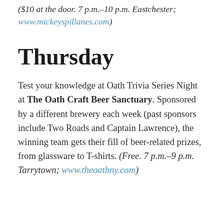($10 at the door. 7 p.m.–10 p.m. Eastchester; www.mickeyspillanes.com)
Thursday
Test your knowledge at Oath Trivia Series Night at The Oath Craft Beer Sanctuary. Sponsored by a different brewery each week (past sponsors include Two Roads and Captain Lawrence), the winning team gets their fill of beer-related prizes, from glassware to T-shirts. (Free. 7 p.m.–9 p.m. Tarrytown; www.theoathny.com)